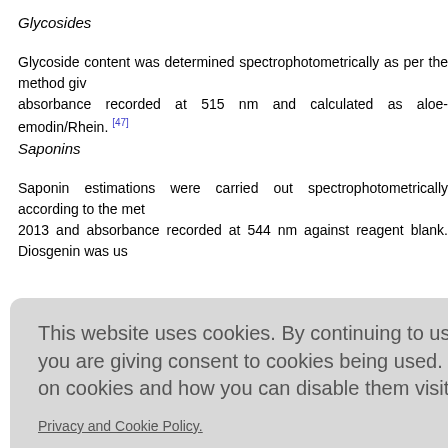Glycosides
Glycoside content was determined spectrophotometrically as per the method given absorbance recorded at 515 nm and calculated as aloe-emodin/Rhein. [47]
Saponins
Saponin estimations were carried out spectrophotometrically according to the method 2013 and absorbance recorded at 544 nm against reagent blank. Diosgenin was used
n 10 mL of t sium hexacy nin with occ m against re
[Figure (screenshot): Cookie consent banner overlay with text: 'This website uses cookies. By continuing to use this website you are giving consent to cookies being used. For information on cookies and how you can disable them visit our Privacy and Cookie Policy.' with a red 'AGREE & PROCEED' button.]
E, DPP-4 i -oxidant ac onic acid) ( scavenging by dot-blot assay of the individual extracts, and that of the composit